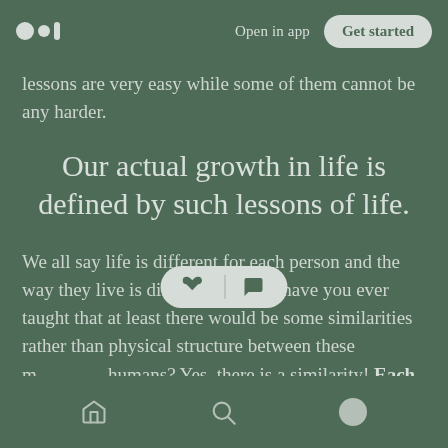Medium logo | Open in app | Get started
lessons are very easy while some of them cannot be any harder.
Our actual growth in life is defined by such lessons of life.
We all say life is different for each person and the way they live is different too. But have you ever taught that at least there would be some similarities rather than physical structure between these m… humans? Yes, there is a similarity! Each human has two
Home | Search | Profile